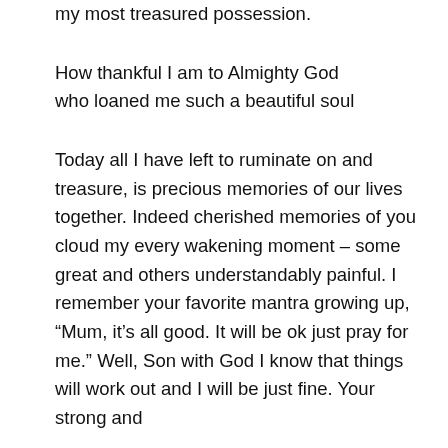my most treasured possession.
How thankful I am to Almighty God who loaned me such a beautiful soul
Today all I have left to ruminate on and treasure, is precious memories of our lives together. Indeed cherished memories of you cloud my every wakening moment – some great and others understandably painful. I remember your favorite mantra growing up, “Mum, it’s all good. It will be ok just pray for me.” Well, Son with God I know that things will work out and I will be just fine. Your strong and